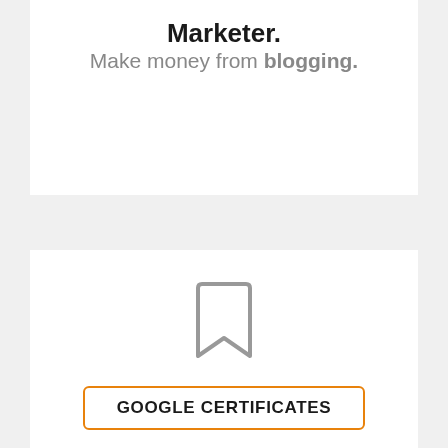Marketer.
Make money from blogging.
[Figure (illustration): Bookmark ribbon icon in gray outline style]
GOOGLE CERTIFICATES
#4